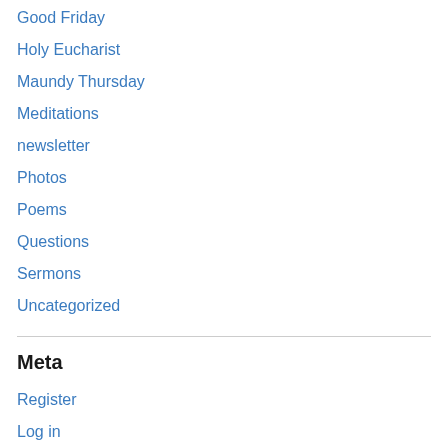Good Friday
Holy Eucharist
Maundy Thursday
Meditations
newsletter
Photos
Poems
Questions
Sermons
Uncategorized
Meta
Register
Log in
Entries feed
Comments feed
WordPress.com